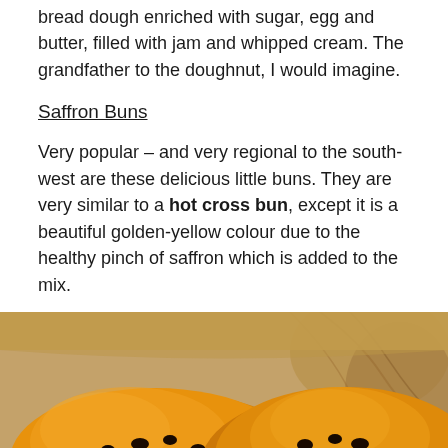bread dough enriched with sugar, egg and butter, filled with jam and whipped cream. The grandfather to the doughnut, I would imagine.
Saffron Buns
Very popular – and very regional to the south-west are these delicious little buns. They are very similar to a hot cross bun, except it is a beautiful golden-yellow colour due to the healthy pinch of saffron which is added to the mix.
[Figure (photo): Two golden-yellow saffron buns with dark currants/raisins, sitting in brown paper packaging. The buns have a rich orange-gold colour characteristic of saffron.]